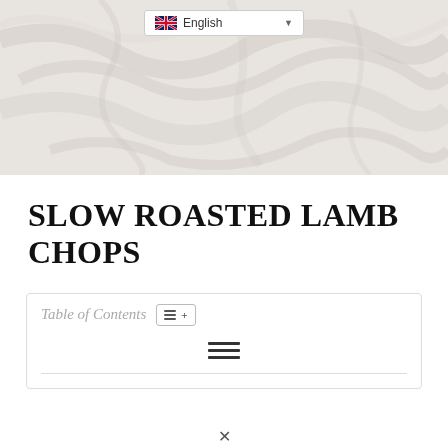[Figure (photo): Marble texture background image with white and light grey veining patterns]
English
SLOW ROASTED LAMB CHOPS
Table of Contents